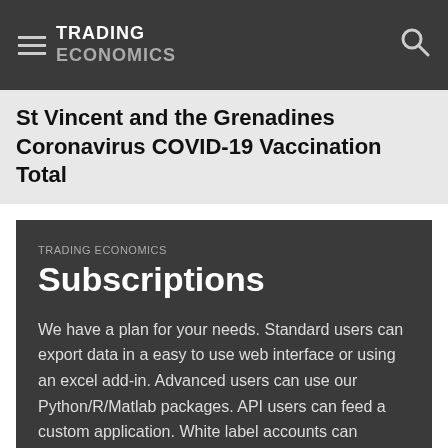TRADING ECONOMICS
St Vincent and the Grenadines Coronavirus COVID-19 Vaccination Total
TRADING ECONOMICS
Subscriptions
We have a plan for your needs. Standard users can export data in a easy to use web interface or using an excel add-in. Advanced users can use our Python/R/Matlab packages. API users can feed a custom application. White label accounts can distribute our data.
50 Million Indicators
50K Markets
Economic Calendar
Live Quotes
News Stream
Currencies
Earnings Releases
Stocks
Credit Ratings
Commodities
Forecasts
Bonds